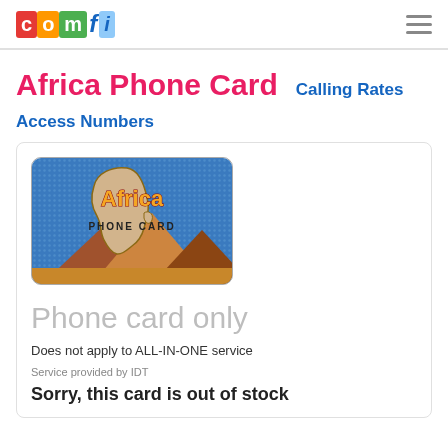comfi logo + hamburger menu
Africa Phone Card   Calling Rates
Access Numbers
[Figure (illustration): Africa Phone Card product image showing the Africa continent silhouette over Egyptian pyramids with 'Africa PHONE CARD' text in orange/yellow letters on a blue dotted background]
Phone card only
Does not apply to ALL-IN-ONE service
Service provided by IDT
Sorry, this card is out of stock